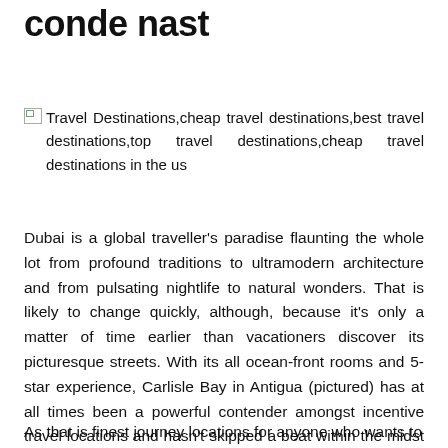conde nast
[Figure (photo): Broken image placeholder with alt text: Travel Destinations,cheap travel destinations,best travel destinations,top travel destinations,cheap travel destinations in the us]
Dubai is a global traveller's paradise flaunting the whole lot from profound traditions to ultramodern architecture and from pulsating nightlife to natural wonders. That is likely to change quickly, although, because it's only a matter of time earlier than vacationers discover its picturesque streets. With its all ocean-front rooms and 5-star experience, Carlisle Bay in Antigua (pictured) has at all times been a powerful contender amongst incentive travel locations and hasn't skipped a beat within the midst of latest storms.
As that is finest journey locations for anyone who wants to